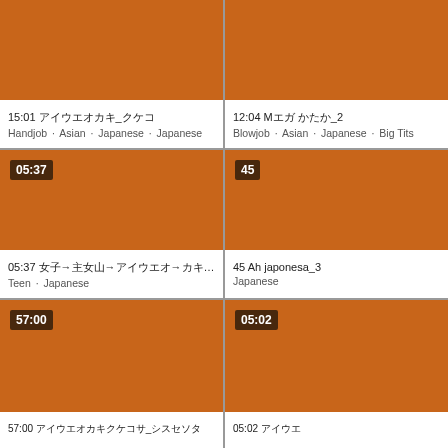[Figure (screenshot): Video thumbnail card 1 with orange background, duration 15:01, title in Japanese, tags: Handjob, Asian, Japanese, Japanese]
[Figure (screenshot): Video thumbnail card 2 with orange background, duration 12:04, title M... ..._2, tags: Blowjob, Asian, Japanese, Big Tits]
[Figure (screenshot): Video thumbnail card 3 with orange background, duration 05:37, title in Japanese with &rarr; symbols, tags: Teen, Japanese]
[Figure (screenshot): Video thumbnail card 4 with orange background, duration 45, title: 45 Ah japonesa_3, tags: Japanese]
[Figure (screenshot): Video thumbnail card 5 with orange background, duration 57:00, title in Japanese, tags partially visible]
[Figure (screenshot): Video thumbnail card 6 with orange background, duration 05:02, title in Japanese, tags partially visible]